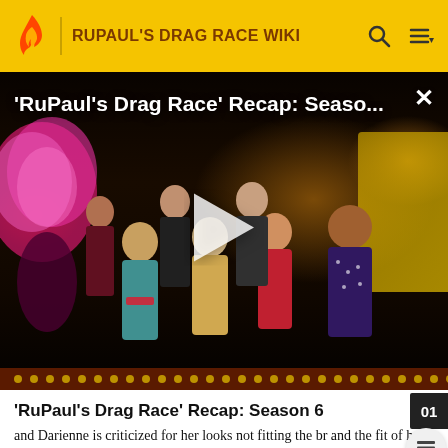RUPAUL'S DRAG RACE WIKI
[Figure (screenshot): Video thumbnail showing contestants from RuPaul's Drag Race Season 6 on a stage, with a play button overlay. Video title reads: 'RuPaul's Drag Race' Recap: Seaso...]
'RuPaul's Drag Race' Recap: Season 6
and Darienne is criticized for her looks not fitting the br and the fit of her eleganza gown. After the critiques, Ru asks each queens who should be eliminated. All the queens name Darienne, including herself whilst getting